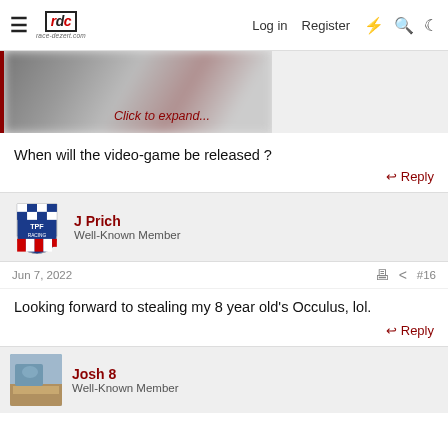≡ RDC race-dezert.com  Log in  Register
[Figure (screenshot): Blurred/hidden image with 'Click to expand...' link in red italic text, with a dark red left border]
When will the video-game be released ?
↩ Reply
J Prich
Well-Known Member
Jun 7, 2022   🖨  ↗  #16
Looking forward to stealing my 8 year old's Occulus, lol.
↩ Reply
Josh 8
Well-Known Member